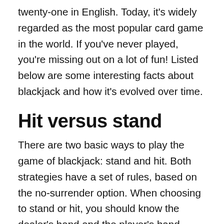twenty-one in English. Today, it's widely regarded as the most popular card game in the world. If you've never played, you're missing out on a lot of fun! Listed below are some interesting facts about blackjack and how it's evolved over time.
Hit versus stand
There are two basic ways to play the game of blackjack: stand and hit. Both strategies have a set of rules, based on the no-surrender option. When choosing to stand or hit, you should know the dealer's hand and the player's hand. Understanding this information